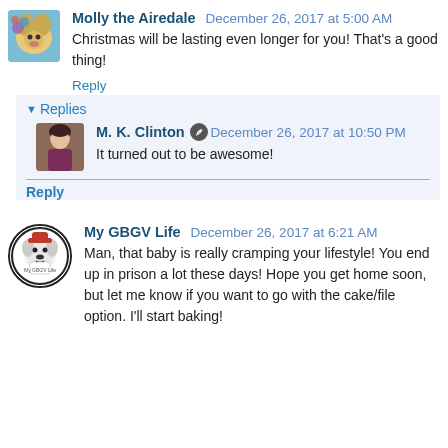Molly the Airedale  December 26, 2017 at 5:00 AM
Christmas will be lasting even longer for you! That's a good thing!
Reply
▾ Replies
M. K. Clinton  December 26, 2017 at 10:50 PM
It turned out to be awesome!
Reply
My GBGV Life  December 26, 2017 at 6:21 AM
Man, that baby is really cramping your lifestyle! You end up in prison a lot these days! Hope you get home soon, but let me know if you want to go with the cake/file option. I'll start baking!